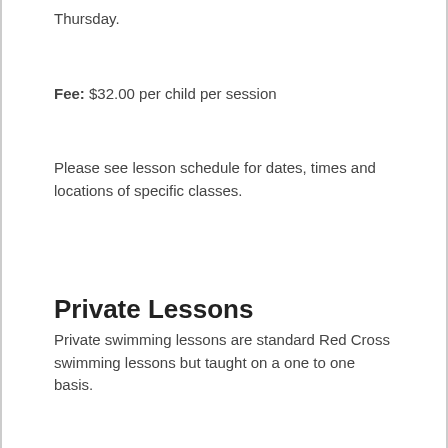Thursday.
Fee: $32.00 per child per session
Please see lesson schedule for dates, times and locations of specific classes.
Private Lessons
Private swimming lessons are standard Red Cross swimming lessons but taught on a one to one basis.